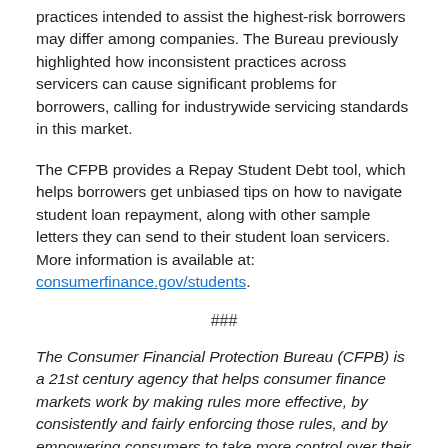practices intended to assist the highest-risk borrowers may differ among companies. The Bureau previously highlighted how inconsistent practices across servicers can cause significant problems for borrowers, calling for industrywide servicing standards in this market.
The CFPB provides a Repay Student Debt tool, which helps borrowers get unbiased tips on how to navigate student loan repayment, along with other sample letters they can send to their student loan servicers. More information is available at: consumerfinance.gov/students.
###
The Consumer Financial Protection Bureau (CFPB) is a 21st century agency that helps consumer finance markets work by making rules more effective, by consistently and fairly enforcing those rules, and by empowering consumers to take more control over their economic lives. For more information, visit www.consumerfinance.gov.